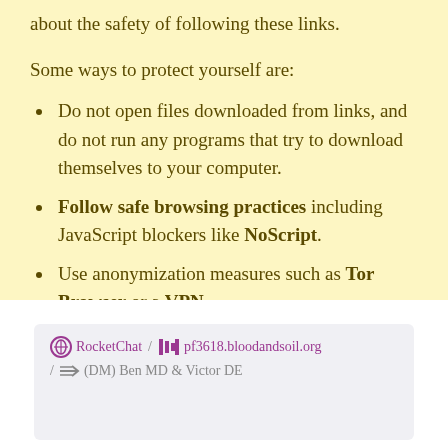about the safety of following these links.
Some ways to protect yourself are:
Do not open files downloaded from links, and do not run any programs that try to download themselves to your computer.
Follow safe browsing practices including JavaScript blockers like NoScript.
Use anonymization measures such as Tor Browser or a VPN.
If you are using the Privacy Badger or other privacy extensions, you may need to whitelist Discord and related domains in order for the images to load.
RocketChat / pf3618.bloodandsoil.org / (DM) Ben MD & Victor DE